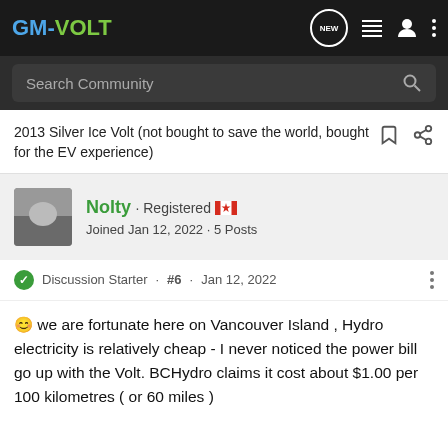GM-VOLT
Search Community
2013 Silver Ice Volt (not bought to save the world, bought for the EV experience)
Nolty · Registered 🇨🇦
Joined Jan 12, 2022 · 5 Posts
Discussion Starter · #6 · Jan 12, 2022
😊 we are fortunate here on Vancouver Island , Hydro electricity is relatively cheap - I never noticed the power bill go up with the Volt. BCHydro claims it cost about $1.00 per 100 kilometres ( or 60 miles )